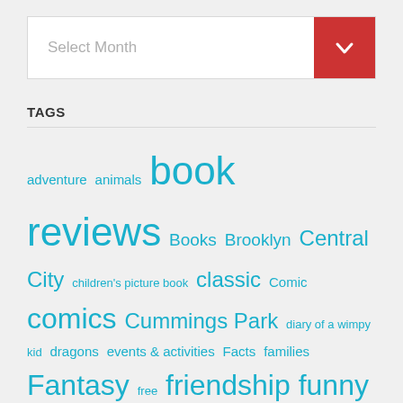[Figure (other): Dropdown selector widget with 'Select Month' placeholder text and a red arrow button on the right]
TAGS
adventure animals book reviews Books Brooklyn Central City children's picture book classic Comic comics Cummings Park diary of a wimpy kid dragons events & activities Facts families Fantasy free friendship funny History Island Bay Johnsonville Karori Khandallah Kids' Club Reviews Kilbirnie Lego Magic Miramar Movies mystery Newtown new zealand authors roald dahl school School Holidays science series siblings Summer Reading